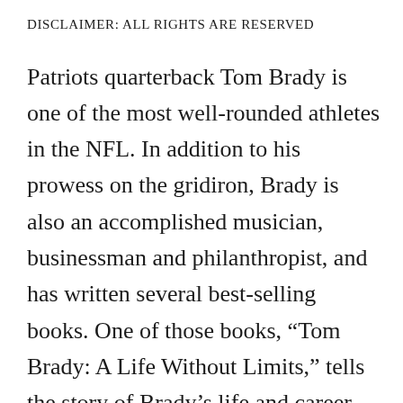DISCLAIMER: ALL RIGHTS ARE RESERVED
Patriots quarterback Tom Brady is one of the most well-rounded athletes in the NFL. In addition to his prowess on the gridiron, Brady is also an accomplished musician, businessman and philanthropist, and has written several best-selling books. One of those books, “Tom Brady: A Life Without Limits,” tells the story of Brady’s life and career from his youth growing up in a small town outside of Boston, to the challenges he faced while at the University of Michigan, to his rise to greatness with the Patriots, and his